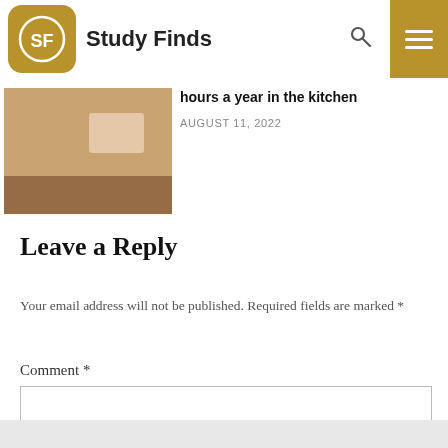Study Finds
[Figure (photo): Thumbnail photo of people in a kitchen]
hours a year in the kitchen
AUGUST 11, 2022
Leave a Reply
Your email address will not be published. Required fields are marked *
Comment *